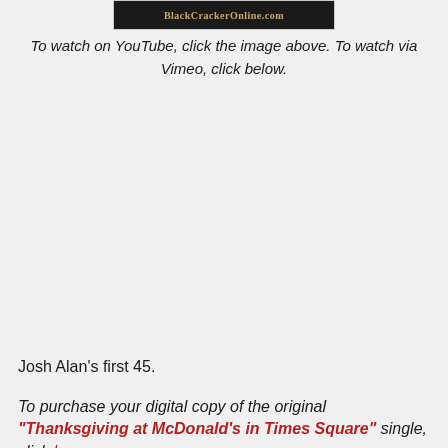[Figure (screenshot): Black banner image showing 'BlackCrackerOnline.com' text in gold/tan color on dark background]
To watch on YouTube, click the image above. To watch via Vimeo, click below.
Josh Alan's first 45.
To purchase your digital copy of the original "Thanksgiving at McDonald's in Times Square" single, click here.